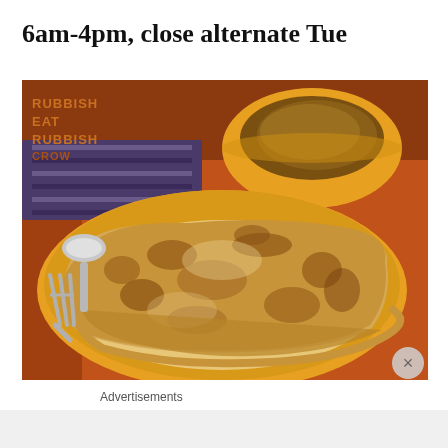6am-4pm, close alternate Tue
[Figure (photo): A roti prata (flatbread) served on a yellow plate with curry sauce in a yellow bowl, on an orange table. A fork and spoon are visible. Watermark reads 'RUBBISH EAT RUBBISH GROW'.]
Advertisements